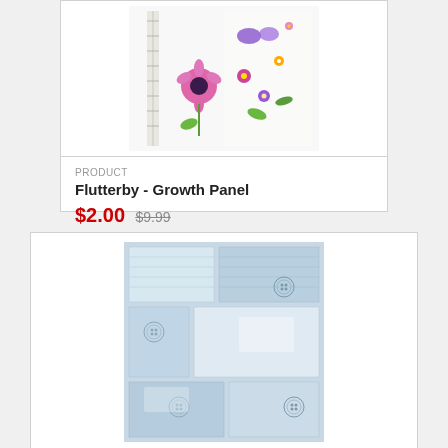[Figure (photo): Floral growth chart fabric panel with pink, purple, yellow, and blue flowers on white background with ruler markings]
PRODUCT
Flutterby - Growth Panel
$2.00 $9.99
[Figure (photo): Blue and white patchwork/quilted fabric with geometric rectangles and circular sewing button motifs]
PRODUCT